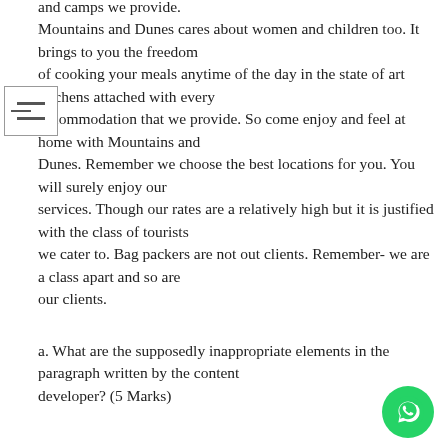and camps we provide. Mountains and Dunes cares about women and children too. It brings to you the freedom of cooking your meals anytime of the day in the state of art kitchens attached with every accommodation that we provide. So come enjoy and feel at home with Mountains and Dunes. Remember we choose the best locations for you. You will surely enjoy our services. Though our rates are a relatively high but it is justified with the class of tourists we cater to. Bag packers are not out clients. Remember- we are a class apart and so are our clients.
a. What are the supposedly inappropriate elements in the paragraph written by the content developer? (5 Marks)